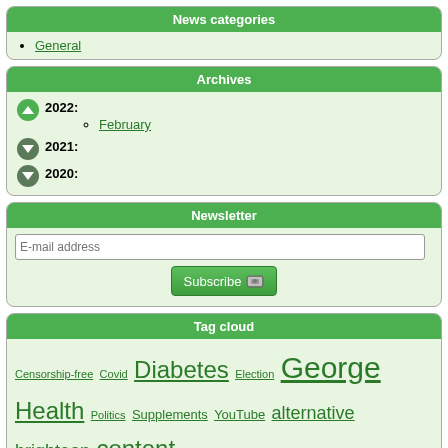News categories
General
Archives
2022: February
2021:
2020:
Newsletter
E-mail address
Subscribe
Tag cloud
Censorship-free Covid Diabetes Election George Health Politics Supplements YouTube alternative brighteon content corruption covid-19 doctor food https information journalism keto medical news pedophilia platform post site social streaming video videos